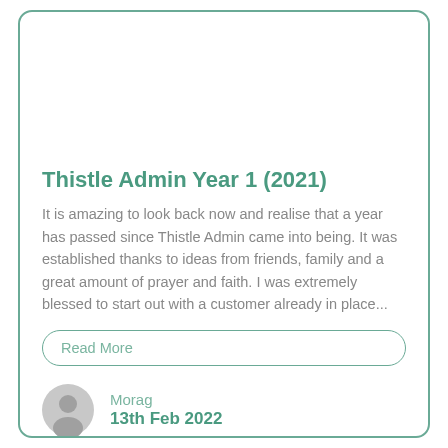Thistle Admin Year 1 (2021)
It is amazing to look back now and realise that a year has passed since Thistle Admin came into being. It was established thanks to ideas from friends, family and a great amount of prayer and faith. I was extremely blessed to start out with a customer already in place...
Read More
Morag
13th Feb 2022